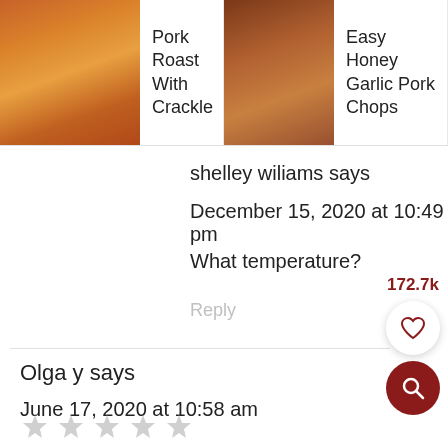[Figure (photo): Recipe card strip showing three food items: Pork Roast With Crackle, Easy Honey Garlic Pork Chops, and Pork Chops with Cream Mushroom]
shelley wiliams says
December 15, 2020 at 10:49 pm
What temperature?
Reply
172.7k
Olga y says
June 17, 2020 at 10:58 am